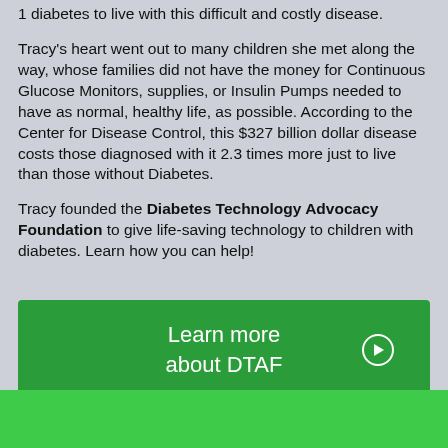1 diabetes to live with this difficult and costly disease.
Tracy's heart went out to many children she met along the way, whose families did not have the money for Continuous Glucose Monitors, supplies, or Insulin Pumps needed to have as normal, healthy life, as possible. According to the Center for Disease Control, this $327 billion dollar disease costs those diagnosed with it 2.3 times more just to live than those without Diabetes.
Tracy founded the Diabetes Technology Advocacy Foundation to give life-saving technology to children with diabetes. Learn how you can help!
[Figure (other): Green button with white text reading 'Learn more about DTAF' and a right-arrow icon in a circle]
[Figure (other): Green banner section at the bottom of the page]